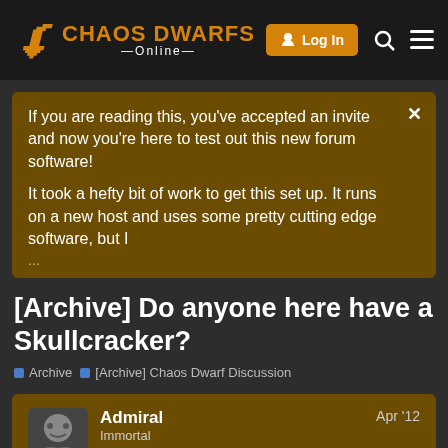Chaos Dwarfs Online
If you are reading this, you've accepted an invite and now you're here to test out this new forum software!

It took a hefty bit of work to get this set up. It runs on a new host and uses some pretty cutting edge software, but I ...
[Archive] Do anyone here have a Skullcracker?
Archive | [Archive] Chaos Dwarf Discussion
Admiral Immortal Apr '12
Admiral: 1/11